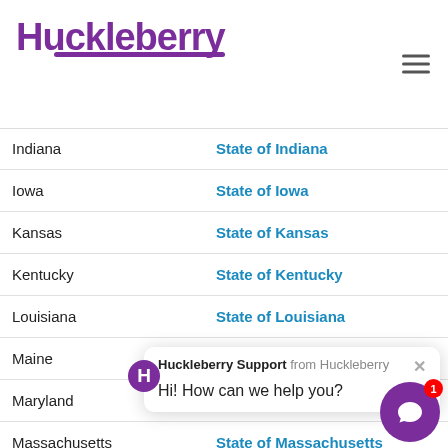Huckleberry
| State | Agency |
| --- | --- |
| Indiana | State of Indiana |
| Iowa | State of Iowa |
| Kansas | State of Kansas |
| Kentucky | State of Kentucky |
| Louisiana | State of Louisiana |
| Maine | State of Maine |
| Maryland | Department of Labor |
| Massachusetts | State of Massachusetts |
| Michigan | State of Michigan |
| Minnesota | State of Minnesota |
| Mississippi | Employment Security Commission |
| Missouri | State of Missouri |
| Montana | Department of Revenue |